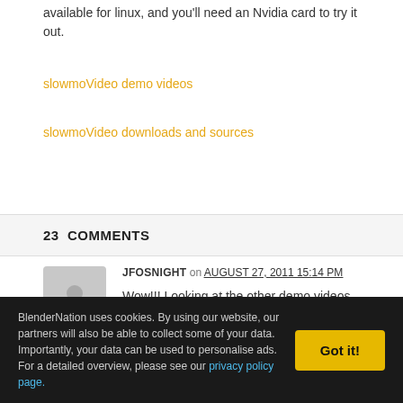available for linux, and you'll need an Nvidia card to try it out.
slowmoVideo demo videos
slowmoVideo downloads and sources
23  COMMENTS
JFOSNIGHT on AUGUST 27, 2011 15:14 PM
Wow!!! Looking at the other demo videos that's amazing!!
BlenderNation uses cookies. By using our website, our partners will also be able to collect some of your data. Importantly, your data can be used to personalise ads. For a detailed overview, please see our privacy policy page.